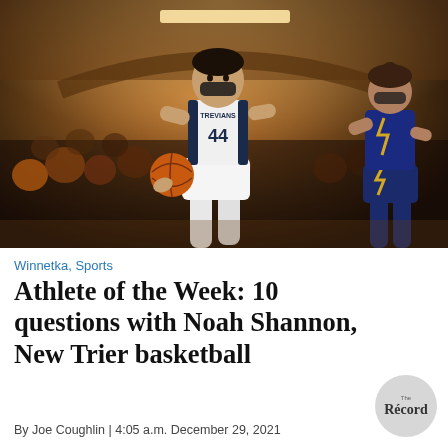[Figure (photo): Basketball player wearing New Trier Trevians jersey number 44, dribbling during a game in a crowded gymnasium. An opposing player in a navy/gold uniform is visible on the right side.]
Winnetka, Sports
Athlete of the Week: 10 questions with Noah Shannon, New Trier basketball
By Joe Coughlin | 4:05 a.m. December 29, 2021